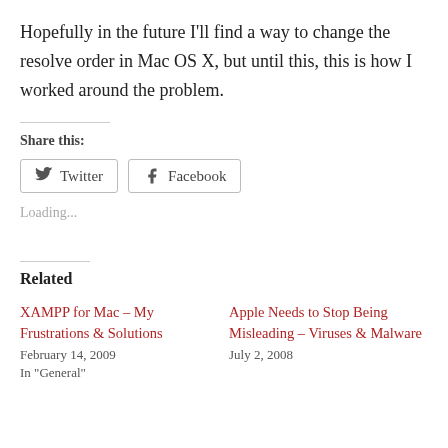Hopefully in the future I'll find a way to change the resolve order in Mac OS X, but until this, this is how I worked around the problem.
Share this:
[Figure (other): Twitter and Facebook share buttons]
Loading...
Related
XAMPP for Mac – My Frustrations & Solutions
February 14, 2009
In "General"
Apple Needs to Stop Being Misleading – Viruses & Malware
July 2, 2008